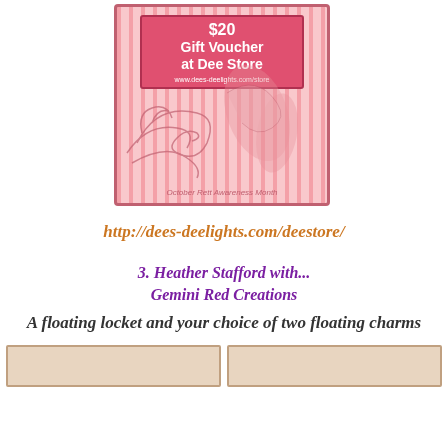[Figure (illustration): Pink striped gift voucher for $20 at Dee Store with floral swirl decorations and text 'October Rett Awareness Month' at bottom]
http://dees-deelights.com/deestore/
3. Heather Stafford with...
Gemini Red Creations
A floating locket and your choice of two floating charms
[Figure (photo): Two small thumbnail images at the bottom of the page]